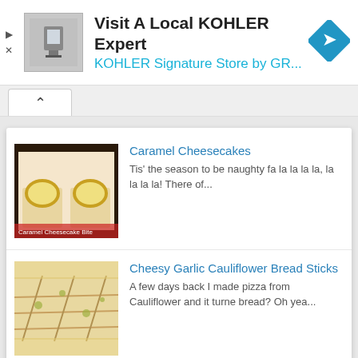[Figure (screenshot): Ad banner for KOHLER with product image and navigation icon]
Visit A Local KOHLER Expert
KOHLER Signature Store by GR...
[Figure (screenshot): Collapse/expand button row with up-arrow caret]
Caramel Cheesecakes
Tis' the season to be naughty fa la la la la, la la la la! There of...
Cheesy Garlic Cauliflower Bread Sticks
A few days back I made pizza from Cauliflower and it turne bread? Oh yea...